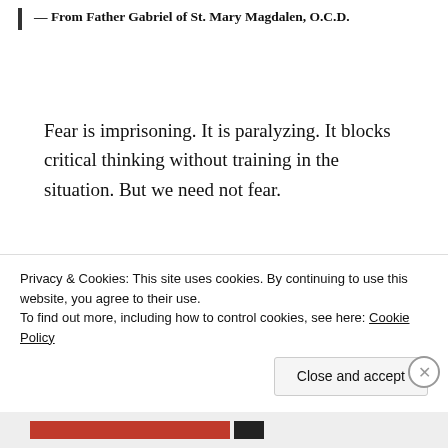— From Father Gabriel of St. Mary Magdalen, O.C.D.
Fear is imprisoning. It is paralyzing. It blocks critical thinking without training in the situation. But we need not fear.
ISAIAH 43: 1b-5
Fear not, for I have redeemed thee, and called thee
Privacy & Cookies: This site uses cookies. By continuing to use this website, you agree to their use.
To find out more, including how to control cookies, see here: Cookie Policy
Close and accept